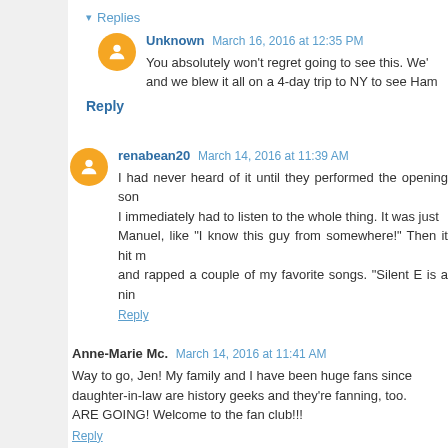▾ Replies
Unknown March 16, 2016 at 12:35 PM
You absolutely won't regret going to see this. We' and we blew it all on a 4-day trip to NY to see Ham
Reply
renabean20 March 14, 2016 at 11:39 AM
I had never heard of it until they performed the opening son I immediately had to listen to the whole thing. It was just Manuel, like "I know this guy from somewhere!" Then it hit m and rapped a couple of my favorite songs. "Silent E is a nin
Reply
Anne-Marie Mc. March 14, 2016 at 11:41 AM
Way to go, Jen! My family and I have been huge fans since daughter-in-law are history geeks and they're fanning, too. ARE GOING! Welcome to the fan club!!!
Reply